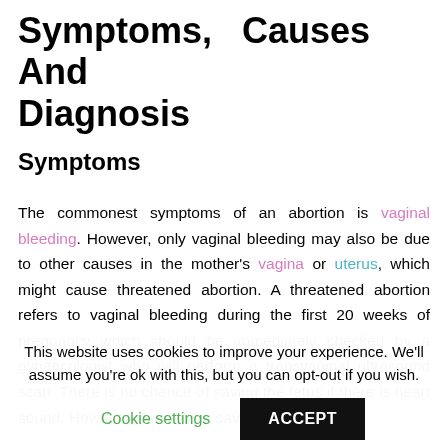Symptoms, Causes And Diagnosis
Symptoms
The commonest symptoms of an abortion is vaginal bleeding. However, only vaginal bleeding may also be due to other causes in the mother's vagina or uterus, which might cause threatened abortion. A threatened abortion refers to vaginal bleeding during the first 20 weeks of pregnancy which should be immediately checked by a gynaecologist who will perform a transvaginal ultrasound scan. There is no chance of saving the fetus if there is heart sound. However, the child is saved if
This website uses cookies to improve your experience. We'll assume you're ok with this, but you can opt-out if you wish. Cookie settings ACCEPT